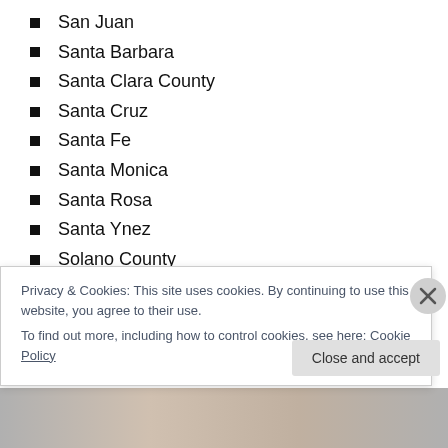San Juan
Santa Barbara
Santa Clara County
Santa Cruz
Santa Fe
Santa Monica
Santa Rosa
Santa Ynez
Solano County
Vandenberg Village
Ventura
Privacy & Cookies: This site uses cookies. By continuing to use this website, you agree to their use. To find out more, including how to control cookies, see here: Cookie Policy
Close and accept